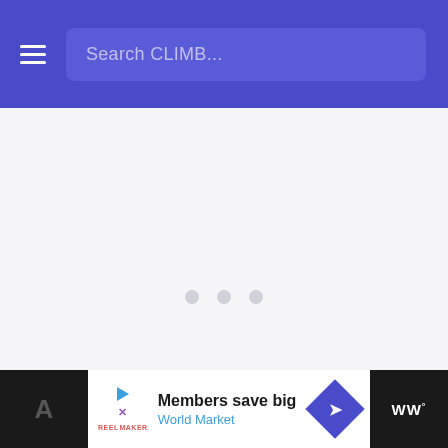Search CLIMB...
[Figure (screenshot): Loading spinner area with three dots centered in a light gray content area]
[Figure (screenshot): Advertisement banner: Members save big - World Market, with play/close icons and a blue diamond arrow icon]